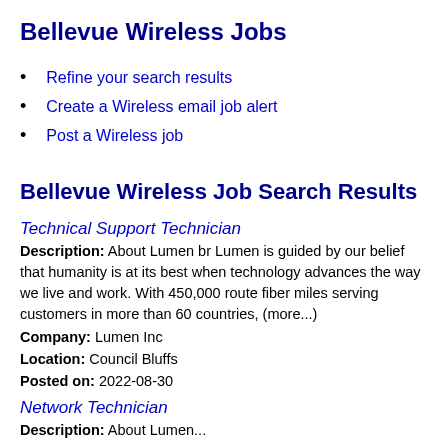Bellevue Wireless Jobs
Refine your search results
Create a Wireless email job alert
Post a Wireless job
Bellevue Wireless Job Search Results
Technical Support Technician
Description: About Lumen br Lumen is guided by our belief that humanity is at its best when technology advances the way we live and work. With 450,000 route fiber miles serving customers in more than 60 countries, (more...)
Company: Lumen Inc
Location: Council Bluffs
Posted on: 2022-08-30
Network Technician
Description: About Lumen...